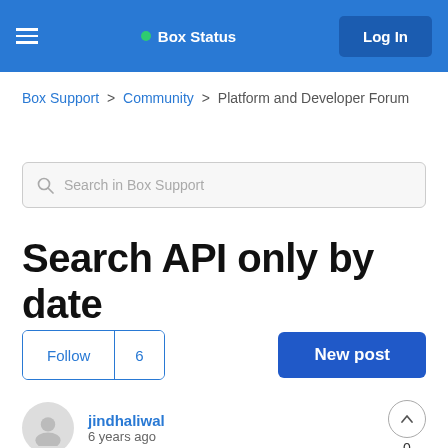Box Status  Log In
Box Support > Community > Platform and Developer Forum
Search in Box Support
Search API only by date
Follow  6  New post
jindhaliwal
6 years ago